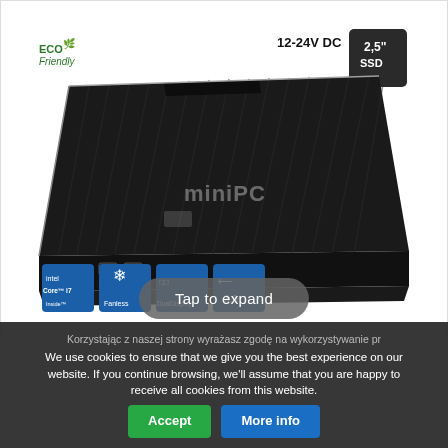[Figure (photo): Mini PC product image showing a black aluminum fanless mini computer with ribbed top surface, front USB ports, blue power LED. Overlays include: 'ECO Friendly' logo top-left, '12-24V DC' and '2.5 SSD' badge top-right, miniPC logo watermark center, Intel Core i7, Fanless, Dual Display, USB 3.0 badges bottom-left.]
Tap to expand
Korzystając z naszej strony wyrażasz zgodę na wykorzystywanie pr
We use cookies to ensure that we give you the best experience on our website. If you continue browsing, we'll assume that you are happy to receive all cookies from this website.